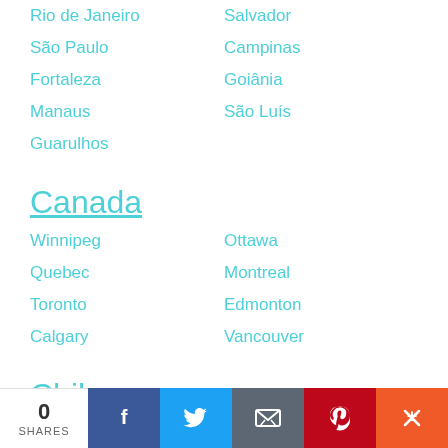Rio de Janeiro
Salvador
São Paulo
Campinas
Fortaleza
Goiânia
Manaus
São Luís
Guarulhos
Canada
Winnipeg
Ottawa
Quebec
Montreal
Toronto
Edmonton
Calgary
Vancouver
Chile
Santiago
Concepcion